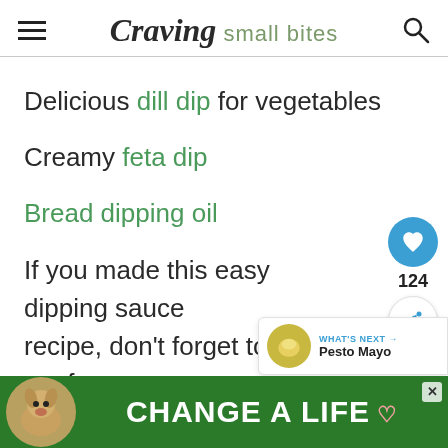Craving small bites
Delicious dill dip for vegetables
Creamy feta dip
Bread dipping oil
If you made this easy dipping sauce recipe, don't forget to leave me f... and rate it 5 stars. Tag us
[Figure (other): Advertisement banner: dog photo with 'CHANGE A LIFE' text on green background]
[Figure (other): Floating like button (heart icon, blue circle), count 124, and share button]
[Figure (other): What's Next widget showing Pesto Mayo with circular food image]